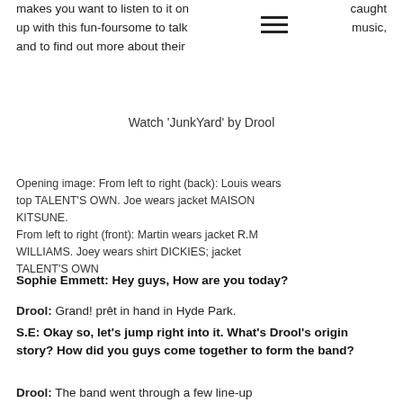makes you want to listen to it on up with this fun-foursome to talk and to find out more about their
caught music,
Watch 'JunkYard' by Drool
Opening image: From left to right (back): Louis wears top TALENT'S OWN. Joe wears jacket MAISON KITSUNE.
From left to right (front): Martin wears jacket R.M WILLIAMS. Joey wears shirt DICKIES; jacket TALENT'S OWN
Sophie Emmett: Hey guys, How are you today?
Drool: Grand! prêt in hand in Hyde Park.
S.E: Okay so, let's jump right into it. What's Drool's origin story? How did you guys come together to form the band?
Drool: The band went through a few line-up changes before coming together. Bassist Mathew...